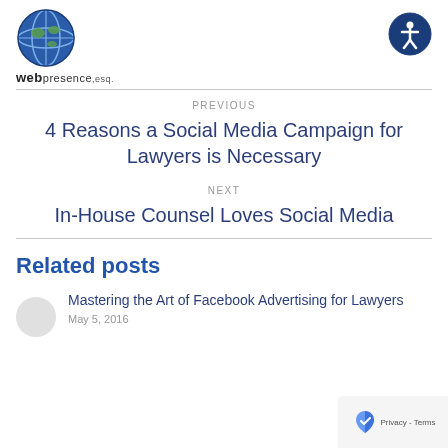[Figure (logo): WebPresence.esq logo with globe icon]
[Figure (illustration): Accessibility icon - person in circle]
PREVIOUS
4 Reasons a Social Media Campaign for Lawyers is Necessary
NEXT
In-House Counsel Loves Social Media
Related posts
Mastering the Art of Facebook Advertising for Lawyers
May 5, 2016